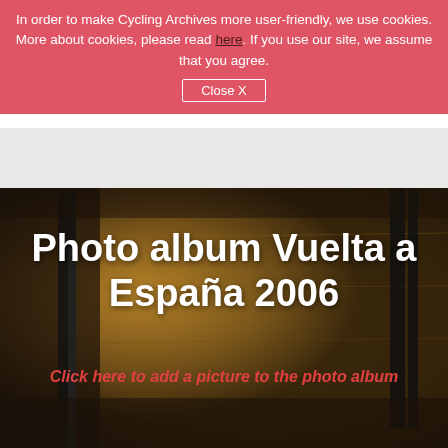In order to make Cycling Archives more user-friendly, we use cookies. More about cookies, please read here. If you use our site, we assume that you agree.
Close X
[Figure (photo): Blurred warm-toned background photo of cycling-related stone or mechanical elements, used as the background for the Vuelta a España 2006 photo album page header.]
Photo album Vuelta a España 2006
Click here to add a picture to the photo album